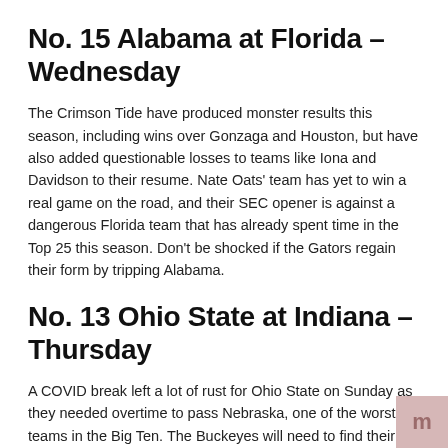No. 15 Alabama at Florida – Wednesday
The Crimson Tide have produced monster results this season, including wins over Gonzaga and Houston, but have also added questionable losses to teams like Iona and Davidson to their resume. Nate Oats' team has yet to win a real game on the road, and their SEC opener is against a dangerous Florida team that has already spent time in the Top 25 this season. Don't be shocked if the Gators regain their form by tripping Alabama.
No. 13 Ohio State at Indiana – Thursday
A COVID break left a lot of rust for Ohio State on Sunday as they needed overtime to pass Nebraska, one of the worst teams in the Big Ten. The Buckeyes will need to find their groove